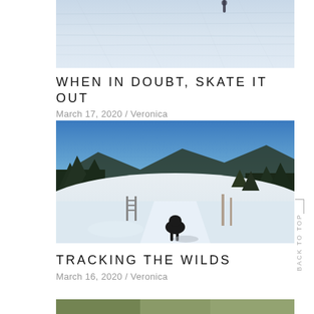[Figure (photo): Partial view of an icy surface, likely a frozen lake or skating rink, with a person visible at the top edge.]
WHEN IN DOUBT, SKATE IT OUT
March 17, 2020 / Veronica
[Figure (photo): A snowy trail with a black dog walking ahead, a metal gate on the left, trees and mountains in the background under a blue sky.]
TRACKING THE WILDS
March 16, 2020 / Veronica
[Figure (photo): Partial bottom photo, mostly cropped, showing green/brown outdoor scene.]